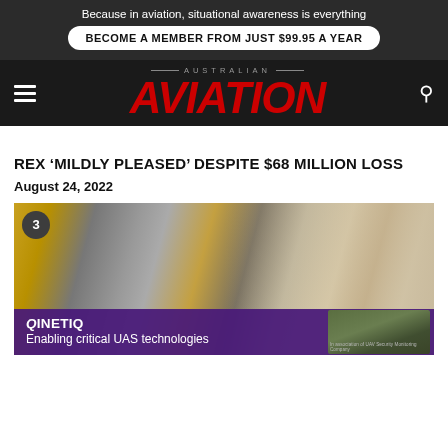Because in aviation, situational awareness is everything
BECOME A MEMBER FROM JUST $99.95 A YEAR
[Figure (logo): Australian Aviation masthead logo in red italic bold text with 'AUSTRALIAN' in small caps above]
REX 'MILDLY PLEASED' DESPITE $68 MILLION LOSS
August 24, 2022
[Figure (photo): Blurred workshop/maintenance scene with a person examining equipment, with a QinetiQ advertisement overlay at the bottom reading 'Enabling critical UAS technologies']